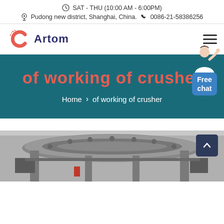SAT - THU (10:00 AM - 6:00PM)
Pudong new district, Shanghai, China.  0086-21-58386256
[Figure (logo): Artom company logo with orange C icon and dark blue Artom text]
of working of crusher
Home > of working of crusher
[Figure (photo): Industrial crusher machine equipment, gray metallic heavy machinery photographed from above/side]